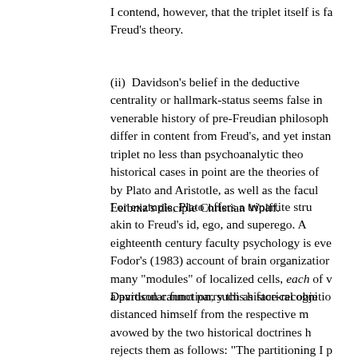I contend, however, that the triplet itself is fa Freud's theory.
(ii) Davidson's belief in the deductive centrality or hallmark-status seems false in venerable history of pre-Freudian philosoph differ in content from Freud's, and yet instan triplet no less than psychoanalytic theo historical cases in point are the theories of by Plato and Aristotle, as well as the facul Leibniz's disciple Christian Wolff.
For example, Plato offers a tripartite stru akin to Freud's id, ego, and superego. A eighteenth century faculty psychology is eve Fodor's (1983) account of brain organizatior many "modules" of localized cells, each of v a particular function, such as face-recognitio
Davidson cannot parry this historical obje distanced himself from the respective m avowed by the two historical doctrines h rejects them as follows: "The partitioning I p correspond in nature or function to the anc a battle between Virtue and Temptation